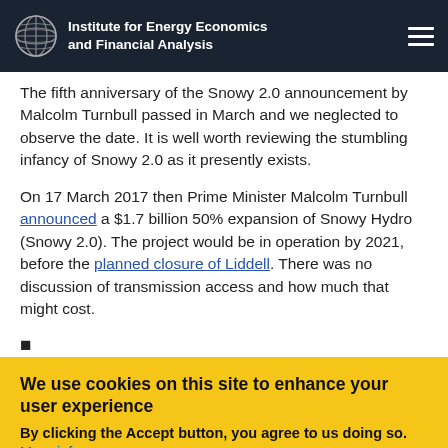Institute for Energy Economics and Financial Analysis
The fifth anniversary of the Snowy 2.0 announcement by Malcolm Turnbull passed in March and we neglected to observe the date. It is well worth reviewing the stumbling infancy of Snowy 2.0 as it presently exists.
On 17 March 2017 then Prime Minister Malcolm Turnbull announced a $1.7 billion 50% expansion of Snowy Hydro (Snowy 2.0). The project would be in operation by 2021, before the planned closure of Liddell. There was no discussion of transmission access and how much that might cost.
•
We use cookies on this site to enhance your user experience By clicking the Accept button, you agree to us doing so. More info